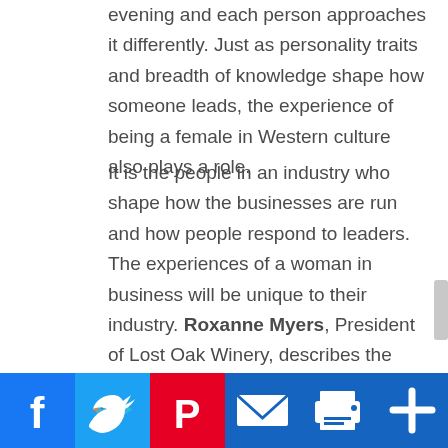evening and each person approaches it differently. Just as personality traits and breadth of knowledge shape how someone leads, the experience of being a female in Western culture also plays a role.
It is the people in an industry who shape how the businesses are run and how people respond to leaders. The experiences of a woman in business will be unique to their industry. Roxanne Myers, President of Lost Oak Winery, describes the grape growing and winemaking industry as a "very male-dominated field, from owner to winemakers." Their primary consumers are females though. Roxanne said "I don't think of myself in the context of being a woman in the things that I do. I hold various leadership positions and in all my roles, I try to put the organization ahead of me, thus helping me focus on the right things not on what